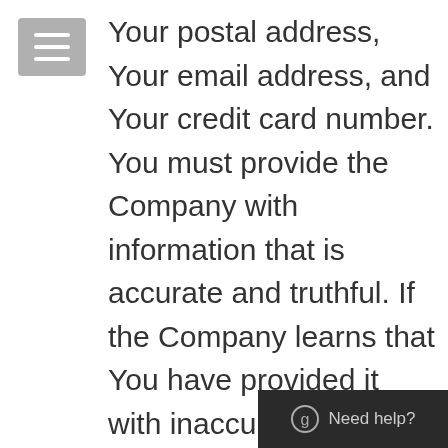[Figure (other): Hamburger menu button (three horizontal lines) on a grey rounded rectangle background]
Your postal address, Your email address, and Your credit card number. You must provide the Company with information that is accurate and truthful. If the Company learns that You have provided it with inaccurate information, it will involuntarily terminate Your account. Moreover, if Your information changes while a Member of the Site, You agree to update it immediately by visiting Your account page and e... Your personal information...
[Figure (other): Need help? chat widget button in dark background at bottom right corner]